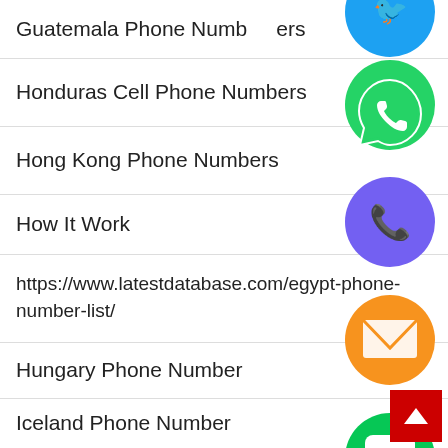Guatemala Phone Numbers
Honduras Cell Phone Numbers
Hong Kong Phone Numbers
How It Work
https://www.latestdatabase.com/egypt-phone-number-list/
Hungary Phone Number
Iceland Phone Number
Illustrator Art Work
[Figure (infographic): Vertical stack of social media and messaging app icons: Twitter/blue circle (partially visible at top), WhatsApp green circle, Viber/phone purple-blue circle, email orange circle, LINE green circle, Viber purple circle, green circle with X]